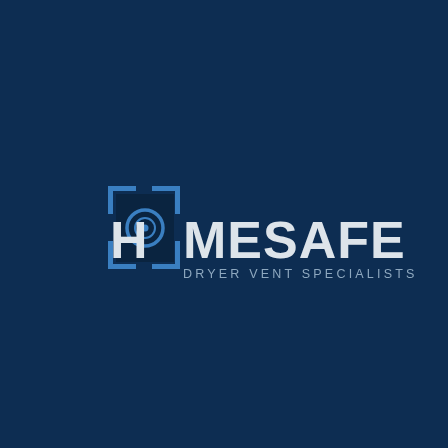[Figure (logo): HomeSafe Dryer Vent Specialists logo. Dark navy blue background. Logo consists of a square bracket / viewfinder icon in blue with a dark navy square inside containing a circular dryer vent graphic, followed by the bold light gray text 'HOMESAFE' and below it the tagline 'DRYER VENT SPECIALISTS' in spaced gray letters.]